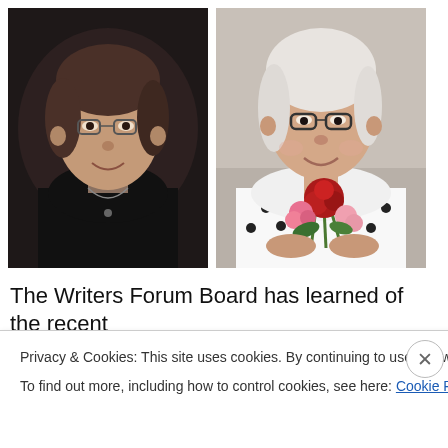[Figure (photo): Black and white portrait photo of an older woman with short dark hair and glasses, wearing a dark top with a necklace, smiling]
[Figure (photo): Color photo of an elderly woman with white hair and glasses, wearing a white polka-dot blouse, holding a bouquet of red and pink flowers, smiling]
The Writers Forum Board has learned of the recent passing of our long-time member, Chloe Winston, who
Privacy & Cookies: This site uses cookies. By continuing to use this website, you agree to their use.
To find out more, including how to control cookies, see here: Cookie Policy
Close and accept